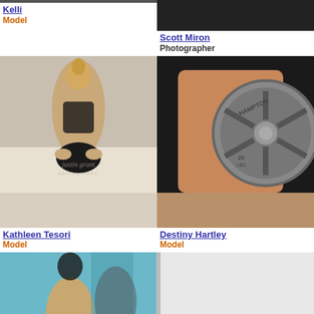Kelli
Model
Scott Miron
Photographer
[Figure (photo): Fitness model Kathleen Tesori bending forward to touch shoes, watermark 'justin grant photography']
Kathleen Tesori
Model
[Figure (photo): Fitness model Destiny Hartley holding a Hampton 25 lbs weight plate]
Destiny Hartley
Model
[Figure (photo): Fitness model posing in front of mirror, teal background]
[Figure (photo): Partially visible photo on right side]